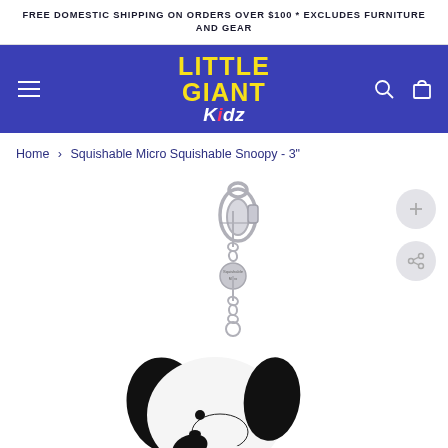FREE DOMESTIC SHIPPING ON ORDERS OVER $100 * EXCLUDES FURNITURE AND GEAR
[Figure (logo): Little Giant Kidz logo in yellow and white on blue navigation bar with hamburger menu, search icon, and cart icon]
Home › Squishable Micro Squishable Snoopy - 3"
[Figure (photo): Squishable Micro Squishable Snoopy 3 inch plush keychain with silver lobster clasp, chain, and round branded tag. Snoopy plush visible at bottom with white and black coloring.]